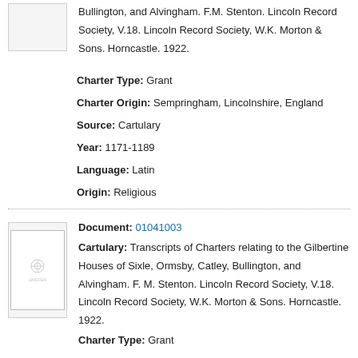Bullington, and Alvingham. F.M. Stenton. Lincoln Record Society, V.18. Lincoln Record Society, W.K. Morton & Sons. Horncastle. 1922.
Charter Type: Grant
Charter Origin: Sempringham, Lincolnshire, England
Source: Cartulary
Year: 1171-1189
Language: Latin
Origin: Religious
Document: 01041003
Cartulary: Transcripts of Charters relating to the Gilbertine Houses of Sixle, Ormsby, Catley, Bullington, and Alvingham. F. M. Stenton. Lincoln Record Society, V.18. Lincoln Record Society, W.K. Morton & Sons. Horncastle. 1922.
Charter Type: Grant